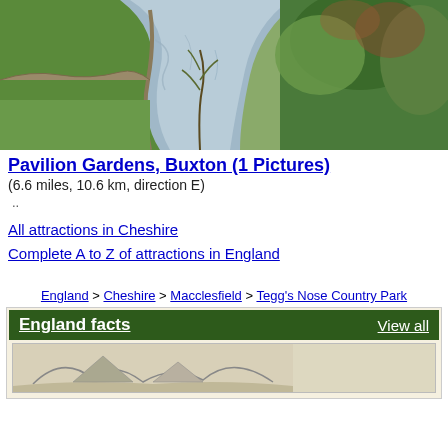[Figure (photo): Aerial or elevated view of a river or stream winding through green grass and vegetation/trees on both sides]
Pavilion Gardens, Buxton (1 Pictures)
(6.6 miles, 10.6 km, direction E)
..
All attractions in Cheshire
Complete A to Z of attractions in England
England > Cheshire > Macclesfield > Tegg's Nose Country Park
England facts
[Figure (illustration): Small sketch or map illustration within the England facts box]